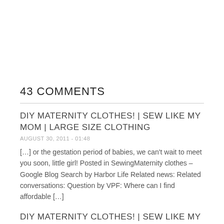43 COMMENTS
DIY MATERNITY CLOTHES! | SEW LIKE MY MOM | LARGE SIZE CLOTHING
AUGUST 30, 2011 - 01:48
[…] or the gestation period of babies, we can't wait to meet you soon, little girl! Posted in SewingMaternity clothes – Google Blog Search by Harbor Life Related news: Related conversations: Question by VPF: Where can I find affordable […]
DIY MATERNITY CLOTHES! | SEW LIKE MY MOM | MATERNITY WEAR